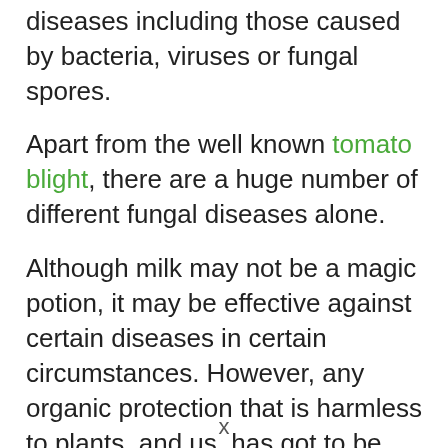diseases including those caused by bacteria, viruses or fungal spores.
Apart from the well known tomato blight, there are a huge number of different fungal diseases alone.
Although milk may not be a magic potion, it may be effective against certain diseases in certain circumstances. However, any organic protection that is harmless to plants, and us, has got to be worth trying.
Some of you may have already realised that spraying with milk, high in calcium … goodbye "Blossom End Rot" and milk may also…
x